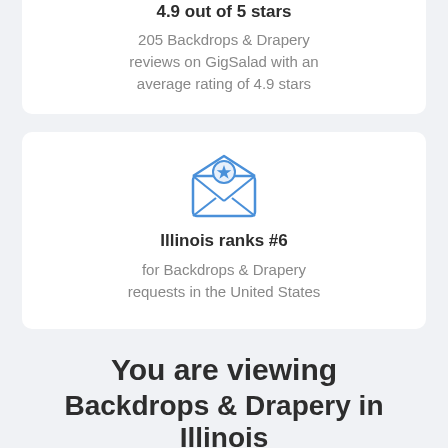4.9 out of 5 stars
205 Backdrops & Drapery reviews on GigSalad with an average rating of 4.9 stars
[Figure (illustration): Blue outline icon of an open envelope with a star badge on the flap]
Illinois ranks #6
for Backdrops & Drapery requests in the United States
You are viewing
Backdrops & Drapery in Illinois